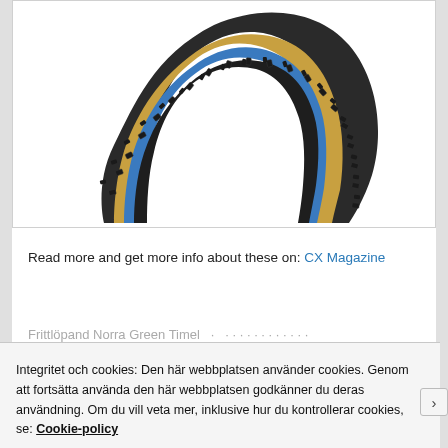[Figure (photo): A cross-section or partial view of a knobby bicycle tire (likely cyclocross or mountain bike tire) showing the internal layers: black rubber tread with aggressive knobs, tan/golden sidewall, and a blue inner liner. The tire is shown in a curved arc shape.]
Read more and get more info about these on: CX Magazine
Integritet och cookies: Den här webbplatsen använder cookies. Genom att fortsätta använda den här webbplatsen godkänner du deras användning. Om du vill veta mer, inklusive hur du kontrollerar cookies, se: Cookie-policy
Stäng och acceptera